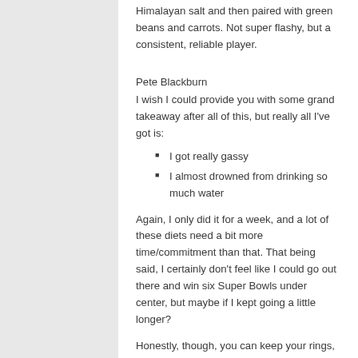Himalayan salt and then paired with green beans and carrots. Not super flashy, but a consistent, reliable player.
Pete Blackburn
I wish I could provide you with some grand takeaway after all of this, but really all I've got is:
I got really gassy
I almost drowned from drinking so much water
Again, I only did it for a week, and a lot of these diets need a bit more time/commitment than that. That being said, I certainly don't feel like I could go out there and win six Super Bowls under center, but maybe if I kept going a little longer?
Honestly, though, you can keep your rings, supermodel wife and hundreds of millions of dollars. None of that would make me happy if I wasn't allowed to smash a cheeseburger into my